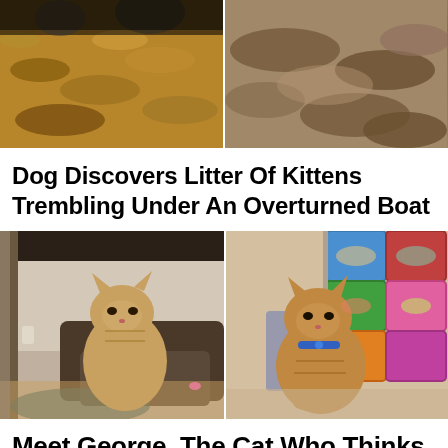[Figure (photo): Two photos side by side: left shows a dog in autumn leaves, right shows dry brown leaves close-up]
Dog Discovers Litter Of Kittens Trembling Under An Overturned Boat
[Figure (photo): Two photos side by side of a grumpy-looking orange tabby cat sitting upright on hind legs, like a person: left photo in a living room, right photo in a colorful storage bin area]
Meet George, The Cat Who Thinks He's